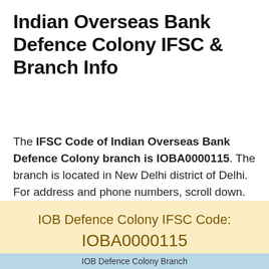Indian Overseas Bank Defence Colony IFSC & Branch Info
The IFSC Code of Indian Overseas Bank Defence Colony branch is IOBA0000115. The branch is located in New Delhi district of Delhi. For address and phone numbers, scroll down.
IOB Defence Colony IFSC Code: IOBA0000115
IOB Defence Colony Branch